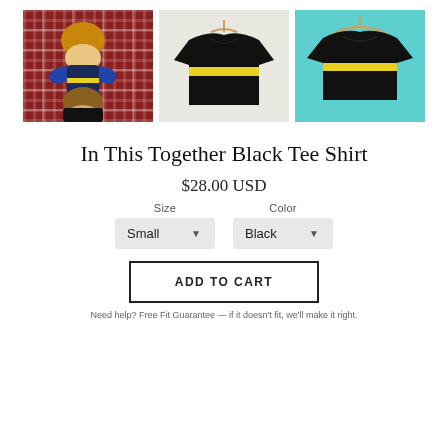[Figure (photo): Three product photos: (1) couple lying on plaid background wearing matching black shirts with yellow stripe, (2) black t-shirt folded/displayed on light background with yellow stripe detail, (3) black t-shirt on hanger against teal background with yellow stripe detail]
In This Together Black Tee Shirt
$28.00 USD
Size
Small ▼
Color
Black ▼
ADD TO CART
Need help? Free Fit Guarantee — if it doesn't fit, we'll make it right.